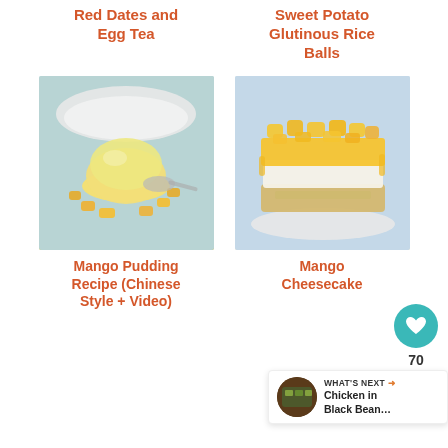Red Dates and Egg Tea
Sweet Potato Glutinous Rice Balls
[Figure (photo): Mango pudding on a plate with mango pieces and a spoon]
Mango Pudding Recipe (Chinese Style + Video)
[Figure (photo): Mango cheesecake topped with mango pieces and sauce]
Mango Cheesecake